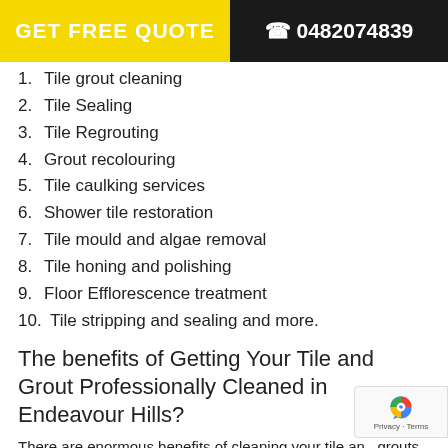GET FREE QUOTE   0482074839
1. Tile grout cleaning
2. Tile Sealing
3. Tile Regrouting
4. Grout recolouring
5. Tile caulking services
6. Shower tile restoration
7. Tile mould and algae removal
8. Tile honing and polishing
9. Floor Efflorescence treatment
10. Tile stripping and sealing and more.
The benefits of Getting Your Tile and Grout Professionally Cleaned in Endeavour Hills?
There are enormous benefits of cleaning your tile and grouts professionally cleaned. Few of them are listed